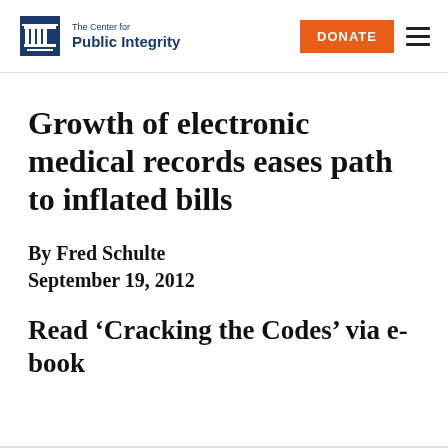The Center for Public Integrity | DONATE
Growth of electronic medical records eases path to inflated bills
By Fred Schulte
September 19, 2012
Read ‘Cracking the Codes’ via e-book